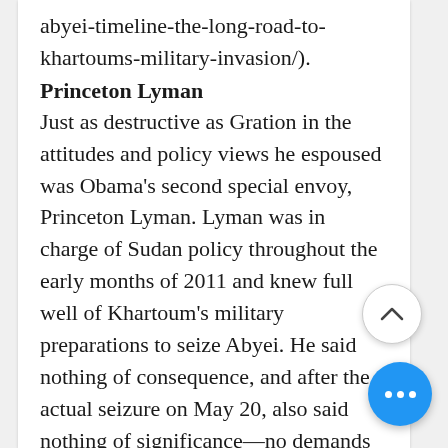abyei-timeline-the-long-road-to-khartoums-military-invasion/).
Princeton Lyman
Just as destructive as Gration in the attitudes and policy views he espoused was Obama's second special envoy, Princeton Lyman. Lyman was in charge of Sudan policy throughout the early months of 2011 and knew full well of Khartoum's military preparations to seize Abyei. He said nothing of consequence, and after the actual seizure on May 20, also said nothing of significance—no demands that Khartoum withdraw militarily, spec[ify] consequences if they did not. All that the U.S. and international commu[nity] offered the people of Abyei, denie[d] their right to a self-determination